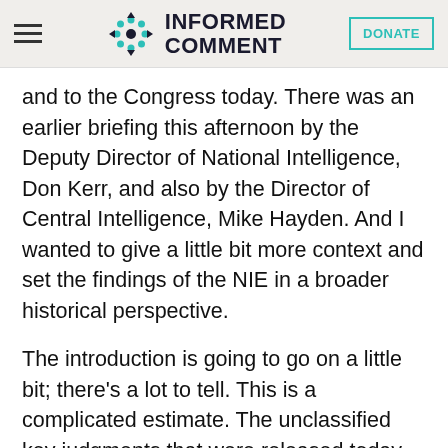Informed Comment
and to the Congress today. There was an earlier briefing this afternoon by the Deputy Director of National Intelligence, Don Kerr, and also by the Director of Central Intelligence, Mike Hayden. And I wanted to give a little bit more context and set the findings of the NIE in a broader historical perspective.
The introduction is going to go on a little bit; there’s a lot to tell. This is a complicated estimate. The unclassified key judgments that were released today